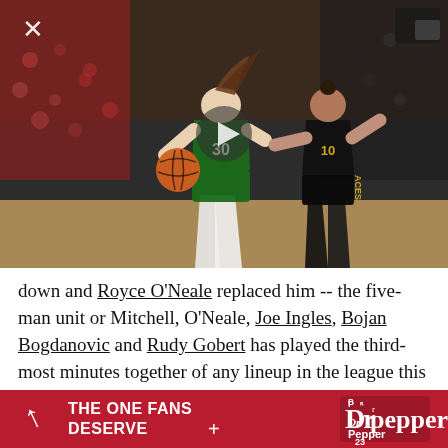[Figure (photo): WNBA basketball game action photo: Seattle Storm player wearing green jersey #30 dribbling the ball, Las Vegas Aces player #10 defending in black jersey, crowd visible in background]
down and Royce O'Neale replaced him -- the five-man unit or Mitchell, O'Neale, Joe Ingles, Bojan Bogdanovic and Rudy Gobert has played the third-most minutes together of any lineup in the league this year and is outscoring opponents by more than
[Figure (advertisement): Dr Pepper advertisement banner: red background, arrow icon, text 'THE ONE FANS DESERVE' with Dr Pepper logo and number 23]